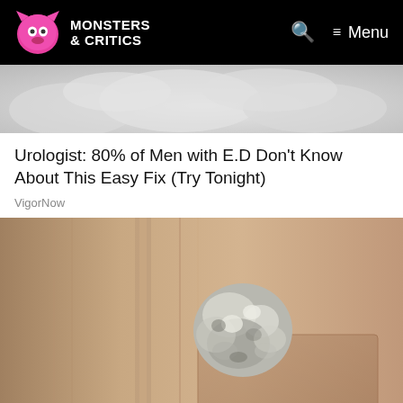Monsters & Critics — Menu
[Figure (photo): Blurred white fluffy background, top portion of an advertisement image]
Urologist: 80% of Men with E.D Don't Know About This Easy Fix (Try Tonight)
VigorNow
[Figure (photo): Close-up photo of a door knob wrapped in crumpled aluminum foil on a beige/tan door]